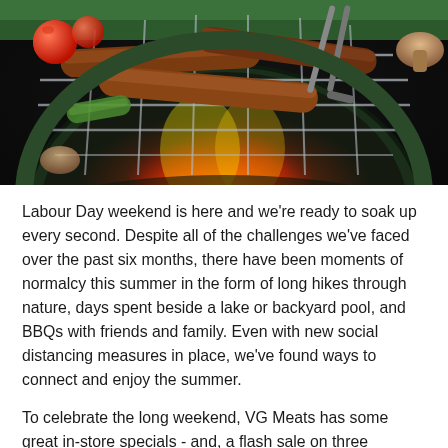[Figure (photo): Close-up photo of a BBQ grill with sausages, tomatoes, mushrooms, and other food items cooking over open flames]
Labour Day weekend is here and we're ready to soak up every second. Despite all of the challenges we've faced over the past six months, there have been moments of normalcy this summer in the form of long hikes through nature, days spent beside a lake or backyard pool, and BBQs with friends and family. Even with new social distancing measures in place, we've found ways to connect and enjoy the summer.
To celebrate the long weekend, VG Meats has some great in-store specials - and, a flash sale on three delicious products! Read on to learn more.